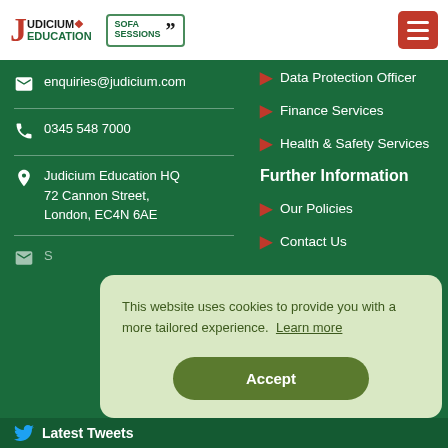Judicium Education | SOFA Sessions
enquiries@judicium.com
0345 548 7000
Judicium Education HQ
72 Cannon Street,
London, EC4N 6AE
Data Protection Officer
Finance Services
Health & Safety Services
Further Information
Our Policies
Contact Us
This website uses cookies to provide you with a more tailored experience. Learn more
Accept
Latest Tweets